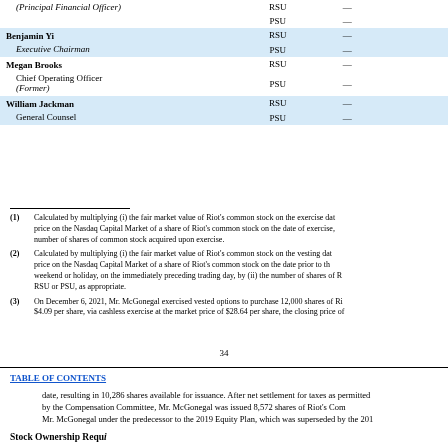|  | Award Type |  |  |
| --- | --- | --- | --- |
| (Principal Financial Officer) | RSU | — |  |
|  | PSU | — |  |
| Benjamin Yi / Executive Chairman | RSU | — |  |
|  | PSU | — |  |
| Megan Brooks / Chief Operating Officer (Former) | RSU | — |  |
|  | PSU | — |  |
| William Jackman / General Counsel | RSU | — |  |
|  | PSU | — |  |
(1) Calculated by multiplying (i) the fair market value of Riot's common stock on the exercise date, price on the Nasdaq Capital Market of a share of Riot's common stock on the date of exercise, number of shares of common stock acquired upon exercise.
(2) Calculated by multiplying (i) the fair market value of Riot's common stock on the vesting date, price on the Nasdaq Capital Market of a share of Riot's common stock on the date prior to the weekend or holiday, on the immediately preceding trading day, by (ii) the number of shares of R RSU or PSU, as appropriate.
(3) On December 6, 2021, Mr. McGonegal exercised vested options to purchase 12,000 shares of Ri $4.09 per share, via cashless exercise at the market price of $28.64 per share, the closing price of
34
TABLE OF CONTENTS
date, resulting in 10,286 shares available for issuance. After net settlement for taxes as permitted by the Compensation Committee, Mr. McGonegal was issued 8,572 shares of Riot's Common Mr. McGonegal under the predecessor to the 2019 Equity Plan, which was superseded by the 201
Stock Ownership Requirements